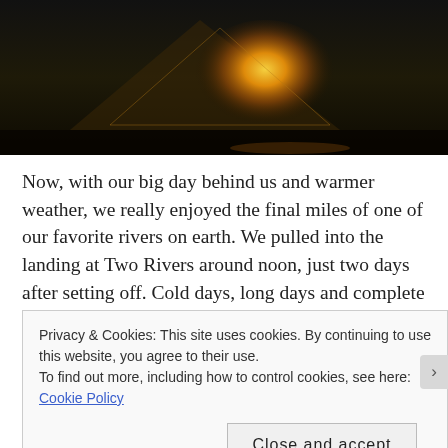[Figure (photo): Nighttime camping photo showing a glowing yellow/orange tent illuminated from inside against a dark background]
Now, with our big day behind us and warmer weather, we really enjoyed the final miles of one of our favorite rivers on earth. We pulled into the landing at Two Rivers around noon, just two days after setting off. Cold days, long days and complete solitude made this an amazing 48 hours. Wouldn't have wanted to be there with anyone else. (Sorry bro...ha!)
Privacy & Cookies: This site uses cookies. By continuing to use this website, you agree to their use.
To find out more, including how to control cookies, see here: Cookie Policy
Close and accept